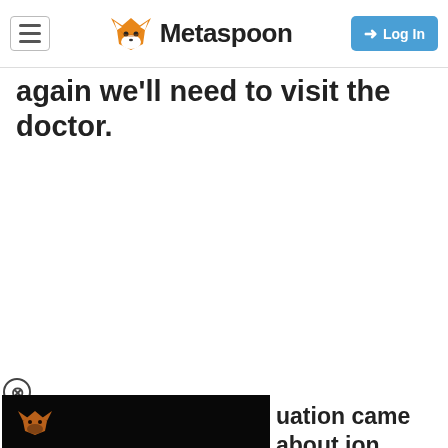Metaspoon — Log In
again we'll need to visit the doctor.
[Figure (screenshot): Video player with black background and small Metaspoon fox logo in top-left, with a close (X) button above it]
uation came about ion would be to get